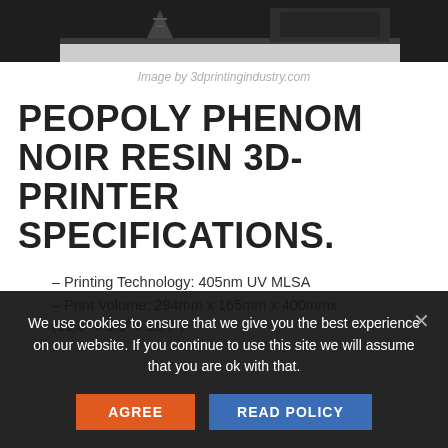[Figure (photo): Dark background photo showing a 3D printer with a model (possibly Eiffel Tower) on the print bed]
Image by 3dprintingindustry.com
PEOPOLY PHENOM NOIR RESIN 3D-PRINTER SPECIFICATIONS.
– Printing Technology: 405nm UV MLSA
– Print Volume: 294mm x 165mm x 400mmx (11.6" x 6.5" x 15.7")
We use cookies to ensure that we give you the best experience on our website. If you continue to use this site we will assume that you are ok with that.